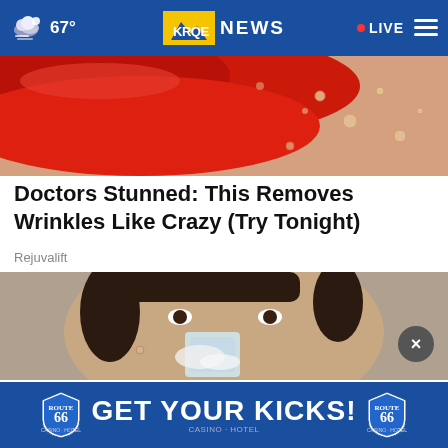67° KRQE NEWS • LIVE
[Figure (photo): Close-up of red lips with water droplets on skin]
Doctors Stunned: This Removes Wrinkles Like Crazy (Try Tonight)
Rejuvalift
[Figure (photo): Person holding ice cube against face with white cream]
[Figure (other): Route 66 Casino Hotel advertisement banner: GET YOUR KICKS!]